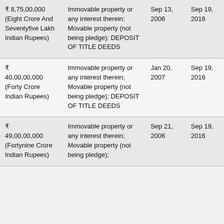| ₹ 8,75,00,000 (Eight Crore And Seventyfive Lakh Indian Rupees) | Immovable property or any interest therein; Movable property (not being pledge); DEPOSIT OF TITLE DEEDS | Sep 13, 2006 | Sep 19, 2016 |
| ₹ 40,00,00,000 (Forty Crore Indian Rupees) | Immovable property or any interest therein; Movable property (not being pledge); DEPOSIT OF TITLE DEEDS | Jan 20, 2007 | Sep 19, 2016 |
| ₹ 49,00,00,000 (Fortynine Crore Indian Rupees) | Immovable property or any interest therein; Movable property (not being pledge); | Sep 21, 2006 | Sep 19, 2016 |